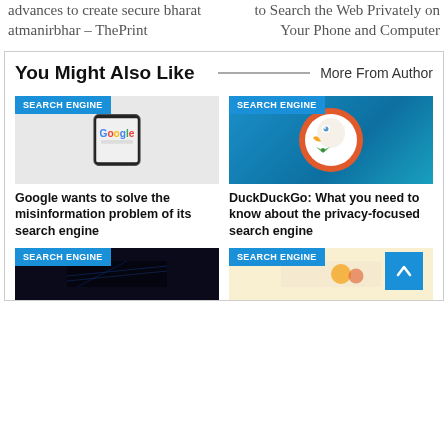advances to create secure bharat atmanirbhar – ThePrint
to Search the Web Privately on Your Phone and Computer
You Might Also Like
More From Author
[Figure (photo): Google logo on phone screen with SEARCH ENGINE badge]
Google wants to solve the misinformation problem of its search engine
[Figure (photo): DuckDuckGo duck logo on blue background with SEARCH ENGINE badge]
DuckDuckGo: What you need to know about the privacy-focused search engine
[Figure (photo): Dark blue tech background with SEARCH ENGINE badge]
[Figure (photo): Colorful image with SEARCH ENGINE badge]